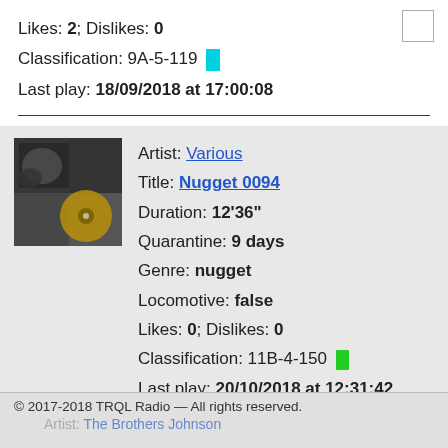Likes: 2; Dislikes: 0
Classification: 9A-5-119
Last play: 18/09/2018 at 17:00:08
[Figure (photo): Album art thumbnail showing black and white photo collage with golden disc overlay]
Artist: Various
Title: Nugget 0094
Duration: 12'36"
Quarantine: 9 days
Genre: nugget
Locomotive: false
Likes: 0; Dislikes: 0
Classification: 11B-4-150
Last play: 20/10/2018 at 12:31:42
© 2017-2018 TRQL Radio — All rights reserved. Artist: The Brothers Johnson